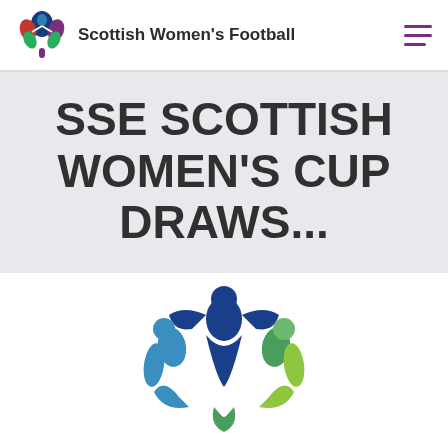Scottish Women's Football
SSE SCOTTISH WOMEN'S CUP DRAWS...
[Figure (logo): SSE Scottish Women's Football logo — stylized figures in blue and green forming a trophy/cup shape with people celebrating, on white background]